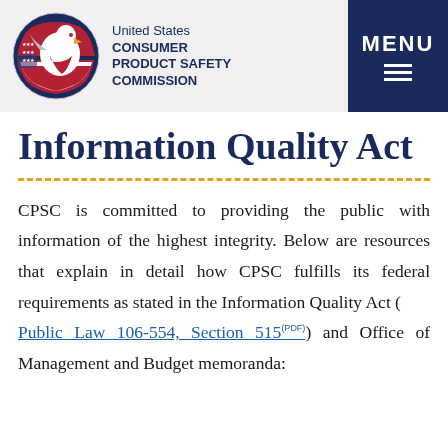United States CONSUMER PRODUCT SAFETY COMMISSION
Information Quality Act
CPSC is committed to providing the public with information of the highest integrity. Below are resources that explain in detail how CPSC fulfills its federal requirements as stated in the Information Quality Act ( Public Law 106-554, Section 515 (PDF) ) and Office of Management and Budget memoranda: